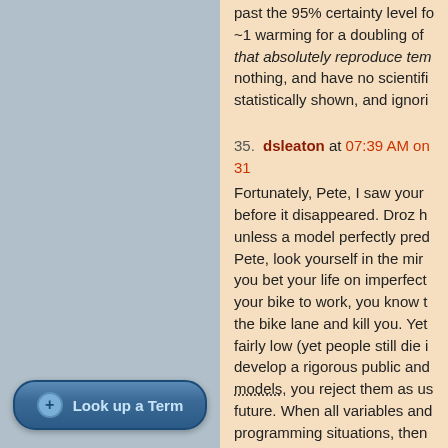past the 95% certainty level for ~1 warming for a doubling of that absolutely reproduce tem nothing, and have no scientifi statistically shown, and ignori
35. dsleaton at 07:39 AM on 31
Fortunately, Pete, I saw your before it disappeared. Droz h unless a model perfectly pred Pete, look yourself in the mir you bet your life on imperfect your bike to work, you know t the bike lane and kill you. Yet fairly low (yet people still die i develop a rigorous public and models, you reject them as us future. When all variables and programming situations, then future. What about the climate climate forecasting? Or perha of perfection? Your position, h climate is totally pointless and believe, then shut up already
[Figure (other): Look up a Term button - a rounded rectangular button with a blue gradient background, a circle plus icon on the left, and white/light blue text reading 'Look up a Term']